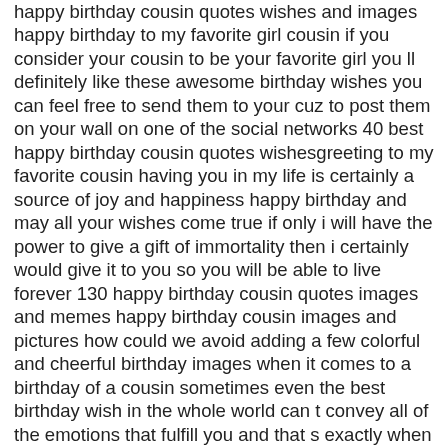happy birthday cousin quotes wishes and images happy birthday to my favorite girl cousin if you consider your cousin to be your favorite girl you ll definitely like these awesome birthday wishes you can feel free to send them to your cuz to post them on your wall on one of the social networks 40 best happy birthday cousin quotes wishesgreeting to my favorite cousin having you in my life is certainly a source of joy and happiness happy birthday and may all your wishes come true if only i will have the power to give a gift of immortality then i certainly would give it to you so you will be able to live forever 130 happy birthday cousin quotes images and memes happy birthday cousin images and pictures how could we avoid adding a few colorful and cheerful birthday images when it comes to a birthday of a cousin sometimes even the best birthday wish in the whole world can t convey all of the emotions that fulfill you and that s exactly when an image can come in handy birthday wishes for cousin birthday images pictures send this picture in e mail a little bird whispered in my ear its your birthday today my favorite cousin so for you a poem i will write on how good and smart you are a blessing i will give to a loving and happy year birthday wishes for cousin happy birthday cousin images get birthday wishes for cousin happy birthday cousin images and wish birthday to them bring a big smile on their face bring a big smile on their face share your feelings in an awesome way 90 happy birthday cousin quotes and images